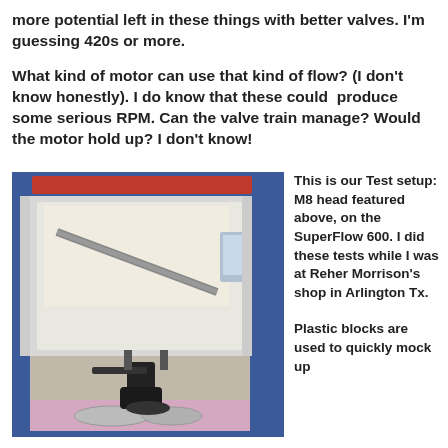more potential left in these things with better valves. I'm guessing 420s or more.
What kind of motor can use that kind of flow? (I don't know honestly). I do know that these could produce some serious RPM. Can the valve train manage? Would the motor hold up? I don't know!
[Figure (photo): A flow bench testing setup (SuperFlow 600) with an M8 head mounted on it. The machine has a blue frame with a large white/gray panel, measurement gauges on the sides, and mechanical components including what appears to be a valve/head assembly at the bottom.]
This is our Test setup: M8 head featured above, on the SuperFlow 600. I did these tests while I was at Reher Morrison's shop in Arlington Tx.
Plastic blocks are used to quickly mock up